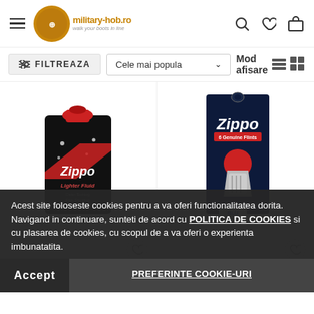[Figure (screenshot): military-hob.ro e-commerce website header with hamburger menu, logo, and icons for search, wishlist, and cart]
FILTREAZA   Cele mai popula ∨   Mod afisare
[Figure (photo): Zippo Lighter Fluid can - black can with red cap]
[Figure (photo): Zippo flint replacement pack - dark blue packaging]
19,00 RON
9,00 RON
Adauga in cos
Adauga in cos
Acest site foloseste cookies pentru a va oferi functionalitatea dorita. Navigand in continuare, sunteti de acord cu POLITICA DE COOKIES si cu plasarea de cookies, cu scopul de a va oferi o experienta imbunatatita.
Accept
PREFERINTE COOKIE-URI